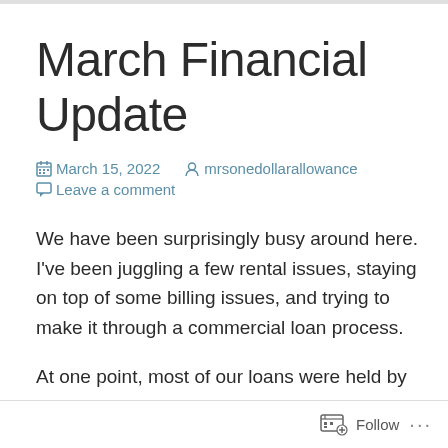March Financial Update
March 15, 2022   mrsonedollarallowance
Leave a comment
We have been surprisingly busy around here. I've been juggling a few rental issues, staying on top of some billing issues, and trying to make it through a commercial loan process.
At one point, most of our loans were held by one company. That was a more simple life. Even though we're down to 6